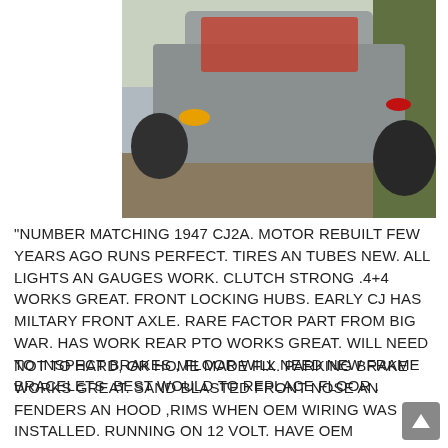[Figure (photo): Aerial/rear view of a military-style Jeep CJ2A in olive/gray color, parked outdoors near trees and dirt. Visible items loaded in the rear cargo area. Circular amber and red lights visible. Large off-road tires.]
“NUMBER MATCHING 1947 CJ2A. MOTOR REBUILT FEW YEARS AGO RUNS PERFECT. TIRES AN TUBES NEW. ALL LIGHTS AN GAUGES WORK. CLUTCH STRONG .4+4 WORKS GREAT. FRONT LOCKING HUBS. EARLY CJ HAS MILTARY FRONT AXLE. RARE FACTOR PART FROM BIG WAR. HAS WORK REAR PTO WORKS GREAT. WILL NEED TO INSPECT BRAKES , FLOOR WILL NEED NEW FRAME BRACELETS .BEST WOULD TO REPLACE FLOOR .
NOT TO HARD, OR HOME MADE FIX. PARKING BRAKE WORKS GREAT. SAND BLASTED FRONT NOSE AN FENDERS AN HOOD ,RIMS WHEN OEM WIRING WAS INSTALLED. RUNNING ON 12 VOLT. HAVE OEM STARTER REGULATOR. HISTORY BOUGHT ON LONG ISLAND. WORKED ON HORSE FARM ,SOLD TO A FOREST RANGER, OEM COLOR RED WINE THEN FOREST GREEN NOW,